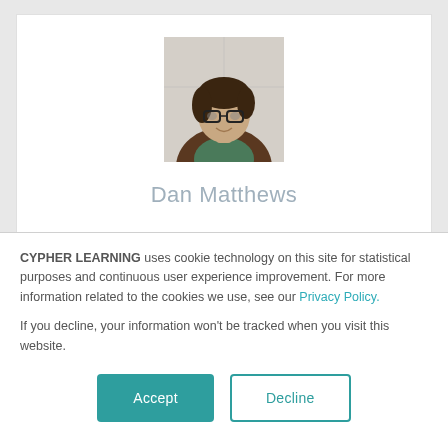[Figure (photo): Profile photo of a young man with brown hair, glasses, and a brown jacket with green hoodie underneath]
Dan Matthews
CYPHER LEARNING uses cookie technology on this site for statistical purposes and continuous user experience improvement. For more information related to the cookies we use, see our Privacy Policy.
If you decline, your information won't be tracked when you visit this website.